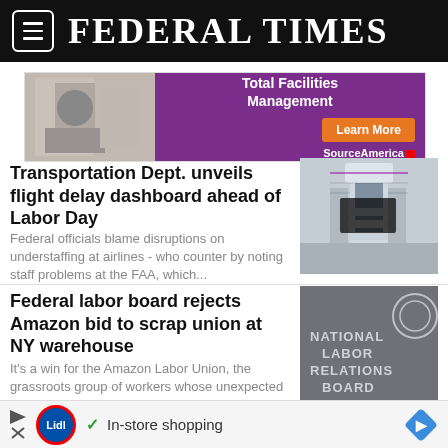FEDERAL TIMES
[Figure (illustration): Advertisement banner for SourceAmerica Total Facilities Management with purple background and orange Learn More button]
Transportation Dept. unveils flight delay dashboard ahead of Labor Day
Federal officials blame disruptions on understaffing at airlines - who counter by noting staff problems at the FAA, which...
[Figure (photo): Air traffic control tower under construction or renovation with scaffolding against a grey sky]
Federal labor board rejects Amazon bid to scrap union at NY warehouse
It's a win for the Amazon Labor Union, the grassroots group of workers whose unexpected victory in April followed weeks...
[Figure (photo): National Labor Relations Board sign or building exterior]
[Figure (illustration): Lidl In-store shopping advertisement banner at bottom of page]